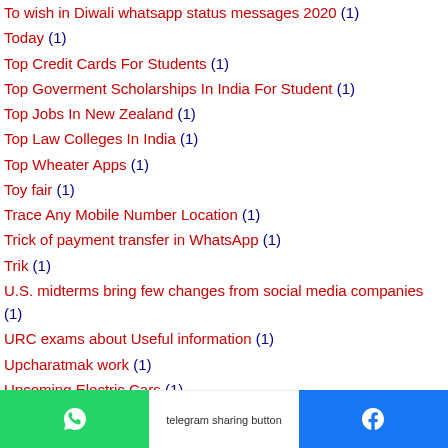To wish in Diwali whatsapp status messages 2020 (1)
Today (1)
Top Credit Cards For Students (1)
Top Goverment Scholarships In India For Student (1)
Top Jobs In New Zealand (1)
Top Law Colleges In India (1)
Top Wheater Apps (1)
Toy fair (1)
Trace Any Mobile Number Location (1)
Trick of payment transfer in WhatsApp (1)
Trik (1)
U.S. midterms bring few changes from social media companies (1)
URC exams about Useful information (1)
Upcharatmak work (1)
Upcoming Electric Cars (1)
Upcoming Mahindra Scorpio (1)
VADH GHAT CAMP KHALI JAGAY LIST 2020 (1)
[Figure (infographic): Bottom social sharing bar with WhatsApp (green), Telegram (white with image), and Facebook (blue) buttons]